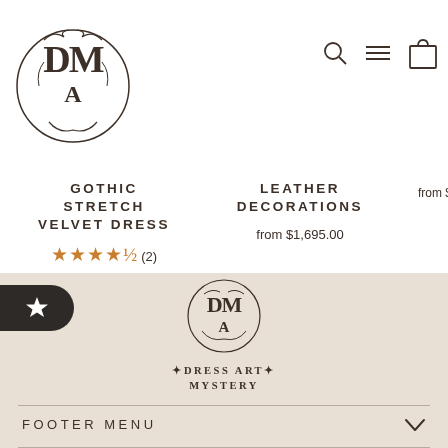[Figure (logo): Dress Art Mystery ornate circular logo mark in dark brown, featuring stylized letters D, A, M with decorative flourishes]
[Figure (other): Navigation icons: search (magnifying glass), hamburger menu, shopping bag — top right of header]
GOTHIC STRETCH VELVET DRESS
★★★★★ (2)
from $355.00
LEATHER DECORATIONS
from $1,695.00
from $3
[Figure (other): Dark rounded-rectangle button with white star icon on left edge of page]
[Figure (logo): Dress Art Mystery footer logo — ornate circular emblem above brand name text DRESS ART MYSTERY]
DRESS ART MYSTERY
FOOTER MENU